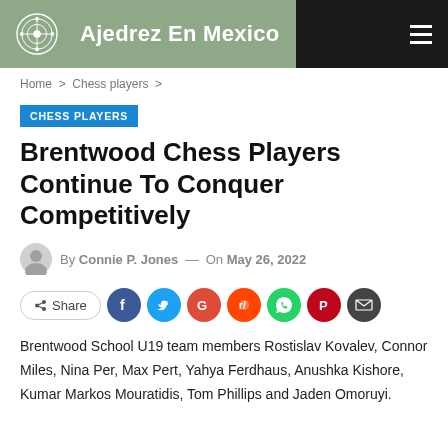Ajedrez En Mexico
Home > Chess players >
CHESS PLAYERS
Brentwood Chess Players Continue To Conquer Competitively
By Connie P. Jones — On May 26, 2022
[Figure (other): Social share buttons: Share, Facebook, Twitter, Google, Reddit, WhatsApp, Pinterest, Email]
Brentwood School U19 team members Rostislav Kovalev, Connor Miles, Nina Per, Max Pert, Yahya Ferdhaus, Anushka Kishore, Kumar Markos Mouratidis, Tom Phillips and Jaden Omoruyi.